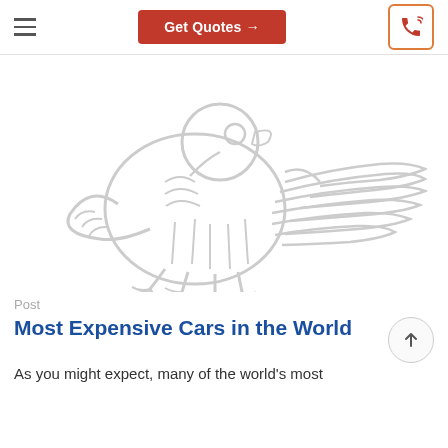Get Quotes →
[Figure (logo): Eagle/bird logo in light grey outline style, facing right with wings spread, perched stance]
Post
Most Expensive Cars in the World
As you might expect, many of the world's most